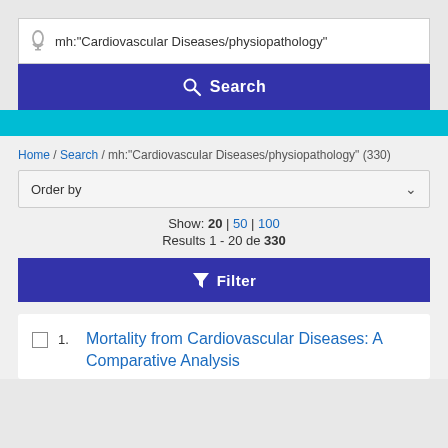[Figure (screenshot): Search bar with microphone icon and text: mh:"Cardiovascular Diseases/physiopathology"]
[Figure (screenshot): Blue Search button with magnifying glass icon]
Home / Search / mh:"Cardiovascular Diseases/physiopathology" (330)
Order by (dropdown)
Show: 20 | 50 | 100
Results 1 - 20 de 330
[Figure (screenshot): Filter button with funnel icon]
1. Mortality from Cardiovascular Diseases: A Comparative Analysis